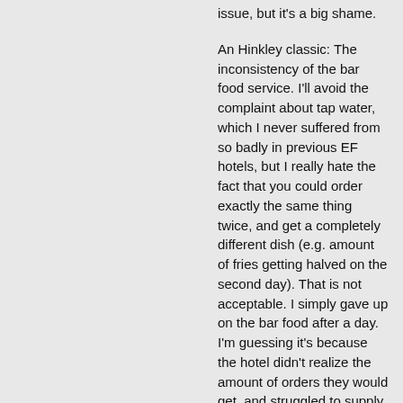issue, but it's a big shame.
An Hinkley classic: The inconsistency of the bar food service. I'll avoid the complaint about tap water, which I never suffered from so badly in previous EF hotels, but I really hate the fact that you could order exactly the same thing twice, and get a completely different dish (e.g. amount of fries getting halved on the second day). That is not acceptable. I simply gave up on the bar food after a day. I'm guessing it's because the hotel didn't realize the amount of orders they would get, and struggled to supply.
General Recommendation
I think there should be an official dance on the middle day (Friday?), since there's